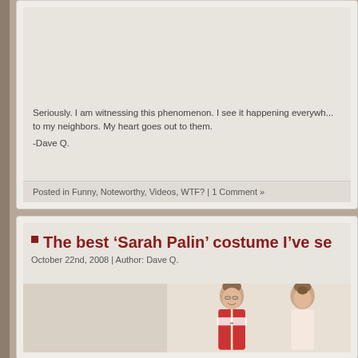Seriously.  I am witnessing this phenomenon.  I see it happening everywh... to my neighbors.  My heart goes out to them.
-Dave Q.
Posted in Funny, Noteworthy, Videos, WTF? | 1 Comment »
The best 'Sarah Palin' costume I've se...
October 22nd, 2008 | Author: Dave Q.
[Figure (photo): Two women dressed in Sarah Palin Halloween costumes, shown from front and back, wearing swimsuits with sashes]